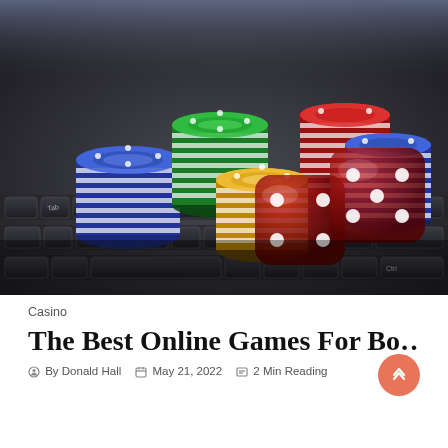[Figure (photo): Casino chips in blue, green, red, orange/yellow stacked on a laptop keyboard, with two red translucent dice in the foreground.]
Casino
The Best Online Games For Bo…
By Donald Hall   May 21, 2022   2 Min Reading